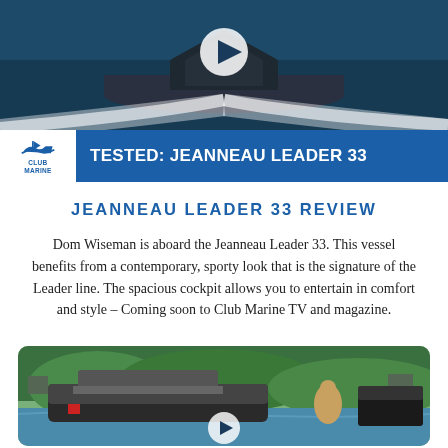[Figure (photo): Boat speeding on water viewed from front, with white wake, dark teal water, play button overlay in center]
TESTED: JEANNEAU LEADER 33
JEANNEAU LEADER 33 REVIEW
Dom Wiseman is aboard the Jeanneau Leader 33. This vessel benefits from a contemporary, sporty look that is the signature of the Leader line. The spacious cockpit allows you to entertain in comfort and style – Coming soon to Club Marine TV and magazine.
[Figure (photo): Boat on water with green tree-covered hills in background, woman visible on deck, play button overlay]